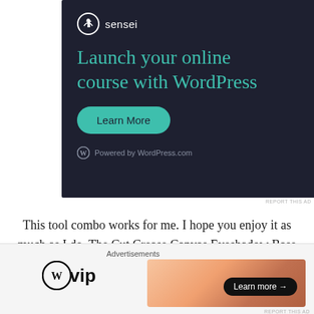[Figure (screenshot): Sensei advertisement banner on dark background: 'Launch your online course with WordPress' with teal Learn More button and Powered by WordPress.com footer]
REPORT THIS AD
This tool combo works for me. I hope you enjoy it as much as I do. The Cut Crease Canvas Eyeshadow Base is available at Ulta Beauty and Revolution Beauty online. Just a little FYI, Makeup Revolution does have several
[Figure (screenshot): Bottom advertisements bar with WordPress VIP logo and a colorful gradient banner ad with 'Learn more →' button]